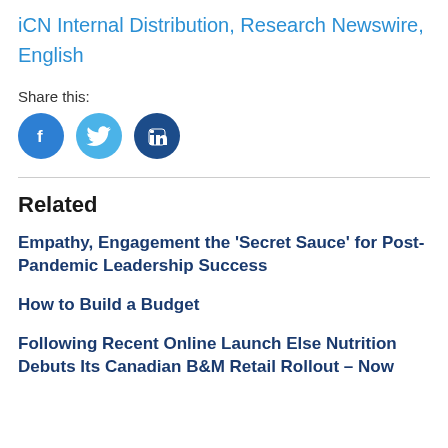iCN Internal Distribution, Research Newswire, English
Share this:
[Figure (illustration): Three social media icon buttons: Facebook (blue circle with f icon), Twitter (light blue circle with bird icon), LinkedIn (dark blue circle with in icon)]
Related
Empathy, Engagement the ‘Secret Sauce’ for Post-Pandemic Leadership Success
How to Build a Budget
Following Recent Online Launch Else Nutrition Debuts Its Canadian B&M Retail Rollout – Now